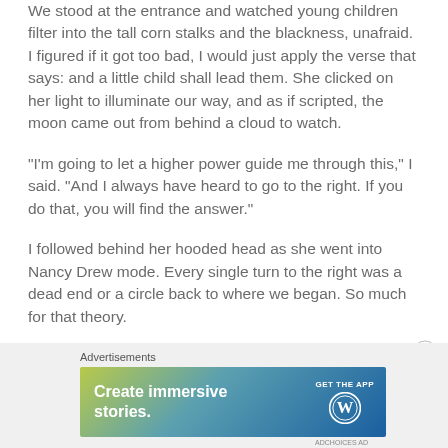We stood at the entrance and watched young children filter into the tall corn stalks and the blackness, unafraid. I figured if it got too bad, I would just apply the verse that says: and a little child shall lead them. She clicked on her light to illuminate our way, and as if scripted, the moon came out from behind a cloud to watch.
“I’m going to let a higher power guide me through this,” I said. “And I always have heard to go to the right. If you do that, you will find the answer.”
I followed behind her hooded head as she went into Nancy Drew mode. Every single turn to the right was a dead end or a circle back to where we began. So much for that theory.
[Figure (other): Advertisement banner for WordPress: 'Create immersive stories. GET THE APP' with WordPress logo, on a gradient blue-green background.]